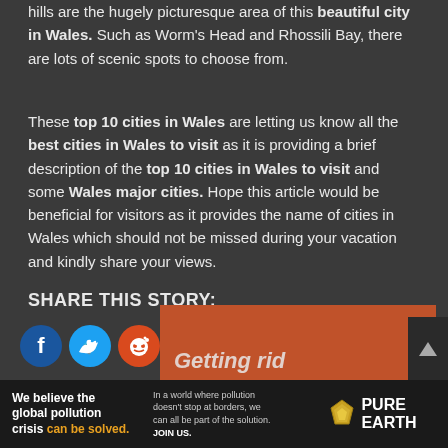hills are the hugely picturesque area of this beautiful city in Wales. Such as Worm's Head and Rhossili Bay, there are lots of scenic spots to choose from.
These top 10 cities in Wales are letting us know all the best cities in Wales to visit as it is providing a brief description of the top 10 cities in Wales to visit and some Wales major cities. Hope this article would be beneficial for visitors as it provides the name of cities in Wales which should not be missed during your vacation and kindly share your views.
SHARE THIS STORY:
[Figure (infographic): Row of social media sharing icons: Facebook (dark blue circle with f), Twitter (blue circle with bird), Reddit (orange-red circle with alien), LinkedIn (blue circle with in), Pinterest (dark red circle with P), MeWe (teal circle with MW), Mix (orange circle with m), WhatsApp (green circle with phone), Share (orange circle with share icon)]
[Figure (infographic): Orange banner box partially visible at bottom with italic bold text starting with 'Getting rid' and an upward arrow button on the right]
[Figure (infographic): Advertisement banner at very bottom: Pure Earth ad. Left side says 'We believe the global pollution crisis can be solved.' Middle text: 'In a world where pollution doesn't stop at borders, we can all be part of the solution. JOIN US.' Right side: Pure Earth logo with diamond/gem icon and text PURE EARTH]